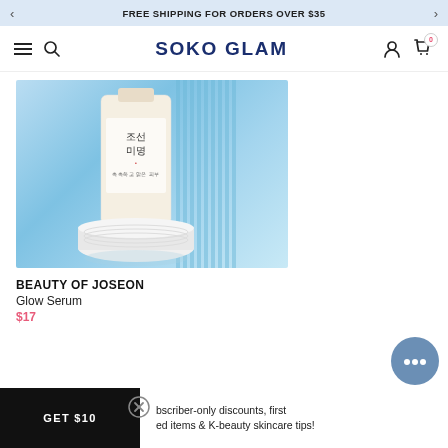FREE SHIPPING FOR ORDERS OVER $35
SOKO GLAM
[Figure (photo): Beauty of Joseon Glow Serum product bottle on white circular podium against a light blue background with vertical stripe texture]
BEAUTY OF JOSEON
Glow Serum
$17
GET $10
bscriber-only discounts, first ed items & K-beauty skincare tips!